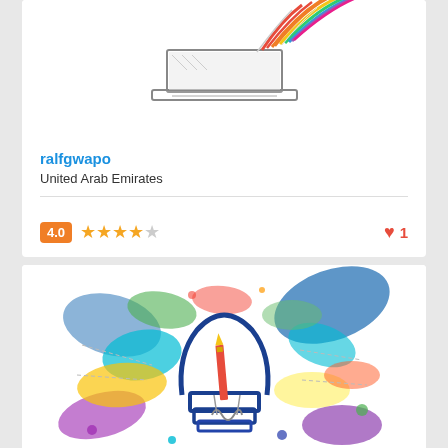[Figure (illustration): Colorful sketch-style illustration of a laptop with rainbow-colored hair/elements exploding from the top]
ralfgwapo
United Arab Emirates
4.0  ★★★★☆   ♥ 1
[Figure (illustration): Colorful watercolor-style lightbulb illustration with paint splashes in many colors and pencils/brushes inside]
Dezign365web